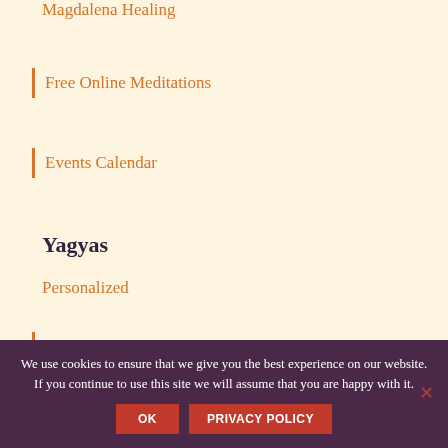Magdalena Healing
Free Online Meditations
Events Calendar
Yagyas
Personalized
Birthday
Business
For the Deceased
We use cookies to ensure that we give you the best experience on our website. If you continue to use this site we will assume that you are happy with it.
OK
PRIVACY POLICY